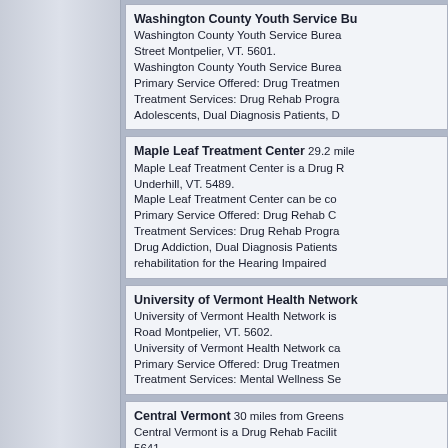Washington County Youth Service Bu... Washington County Youth Service Bureau [address] Street Montpelier, VT. 5601. Washington County Youth Service Bureau Primary Service Offered: Drug Treatment Treatment Services: Drug Rehab Programs for Adolescents, Dual Diagnosis Patients, D...
Maple Leaf Treatment Center 29.2 miles... Maple Leaf Treatment Center is a Drug Rehab Facility in Underhill, VT. 5489. Maple Leaf Treatment Center can be contacted... Primary Service Offered: Drug Rehab Center Treatment Services: Drug Rehab Programs for Drug Addiction, Dual Diagnosis Patients, rehabilitation for the Hearing Impaired
University of Vermont Health Network... University of Vermont Health Network is [a facility] Road Montpelier, VT. 5602. University of Vermont Health Network ca... Primary Service Offered: Drug Treatment Treatment Services: Mental Wellness Se...
Central Vermont 30 miles from Greens... Central Vermont is a Drug Rehab Facility... 5641. Central Vermont can be contacted by ca... Primary Service Offered: Drug Rehab Fa... Treatment Services: Drug Rehab Programs...